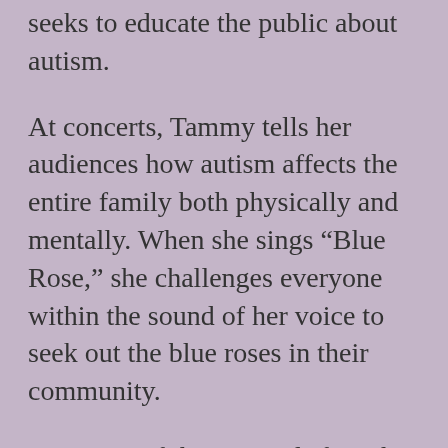seeks to educate the public about autism.
At concerts, Tammy tells her audiences how autism affects the entire family both physically and mentally. When she sings “Blue Rose,” she challenges everyone within the sound of her voice to seek out the blue roses in their community.
A portion of the proceeds from her album Miracles Can Happen, featuring her No. 1 single “That’s the Way,” goes to the Autism Society of Middle Tennessee.
For more information, see